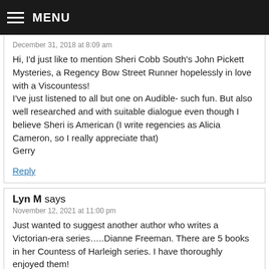MENU
December 31, 2018 at 8:09 am
Hi, I'd just like to mention Sheri Cobb South's John Pickett Mysteries, a Regency Bow Street Runner hopelessly in love with a Viscountess!
I've just listened to all but one on Audible- such fun. But also well researched and with suitable dialogue even though I believe Sheri is American (I write regencies as Alicia Cameron, so I really appreciate that)
Gerry
Reply
Lyn M says
November 12, 2021 at 11:00 pm
Just wanted to suggest another author who writes a Victorian-era series…..Dianne Freeman. There are 5 books in her Countess of Harleigh series. I have thoroughly enjoyed them!